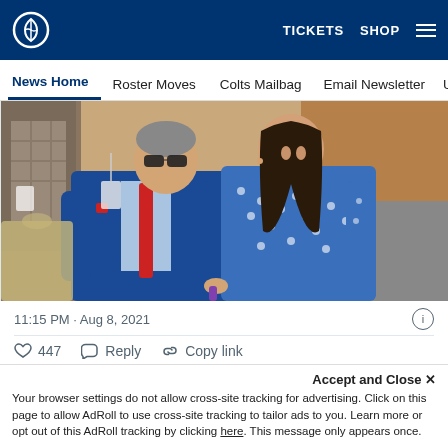Indianapolis Colts website header with logo, TICKETS, SHOP, and hamburger menu
News Home | Roster Moves | Colts Mailbag | Email Newsletter | U...
[Figure (photo): Two people posing together and smiling. Man on left wearing blue suit jacket with red tie. Woman on right wearing blue polka-dot dress with long dark hair.]
11:15 PM · Aug 8, 2021
♡ 447   Reply   Copy link
Read 12 replies
Accept and Close ✕
Your browser settings do not allow cross-site tracking for advertising. Click on this page to allow AdRoll to use cross-site tracking to tailor ads to you. Learn more or opt out of this AdRoll tracking by clicking here. This message only appears once.